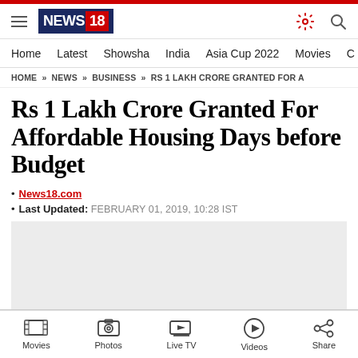[Figure (logo): News18 website screenshot header with logo, hamburger menu, settings and search icons]
Home | Latest | Showsha | India | Asia Cup 2022 | Movies
HOME » NEWS » BUSINESS » RS 1 LAKH CRORE GRANTED FOR A
Rs 1 Lakh Crore Granted For Affordable Housing Days before Budget
News18.com
Last Updated: FEBRUARY 01, 2019, 10:28 IST
Movies | Photos | Live TV | Videos | Share